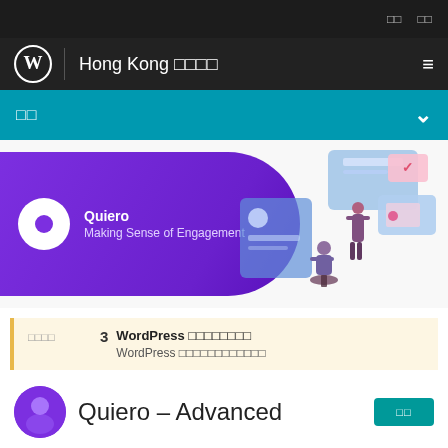□□  □□
Hong Kong □□□□
□□
[Figure (illustration): Quiero brand banner with purple rounded shape, Quiero logo circle, text 'Quiero Making Sense of Engagement', and isometric illustration of people working with digital screens on the right side]
□□□□  3  WordPress □□□□□□□□  WordPress □□□□□□□□□□□□
Quiero – Advanced